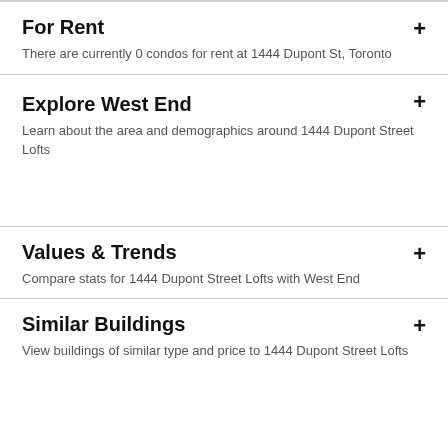For Rent
There are currently 0 condos for rent at 1444 Dupont St, Toronto
Explore West End
Learn about the area and demographics around 1444 Dupont Street Lofts
Values & Trends
Compare stats for 1444 Dupont Street Lofts with West End
Similar Buildings
View buildings of similar type and price to 1444 Dupont Street Lofts